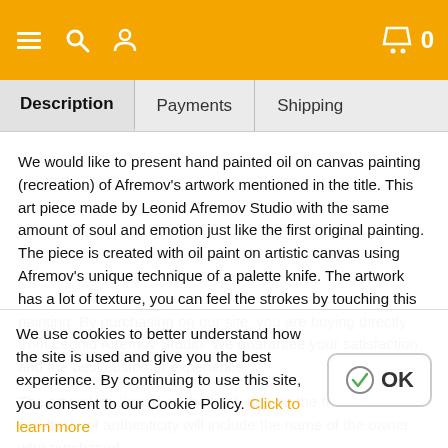Navigation bar with menu, search, user icons and cart (0)
Description | Payments | Shipping
We would like to present hand painted oil on canvas painting (recreation) of Afremov's artwork mentioned in the title. This art piece made by Leonid Afremov Studio with the same amount of soul and emotion just like the first original painting. The piece is created with oil paint on artistic canvas using Afremov's unique technique of a palette knife. The artwork has a lot of texture, you can feel the strokes by touching this painting. By purchasing on our site, you are buying directly from Leonid Afremov Studio. We guarantee your satisfaction and the best customer experience.
The artwork is signed on the back and on the front. The certificate of authenticity will include the name of the owner who purchased the piece of art...
We use cookies to better understand how the site is used and give you the best experience. By continuing to use this site, you consent to our Cookie Policy. Click to learn more